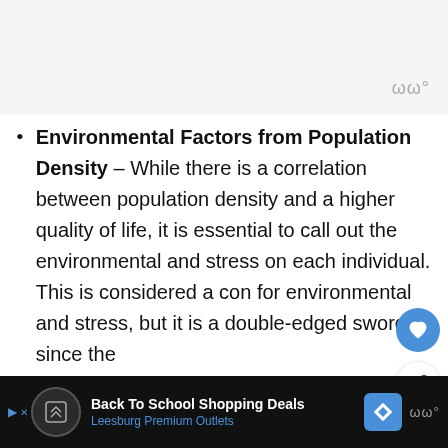Environmental Factors from Population Density – While there is a correlation between population density and a higher quality of life, it is essential to call out the environmental and stress on each individual. This is considered a con for environmental and stress, but it is a double-edged sword since the and economic benefits.
[Figure (other): Bottom advertisement bar: Back To School Shopping Deals – Leesburg Premium Outlets, with logo icons and navigation arrow]